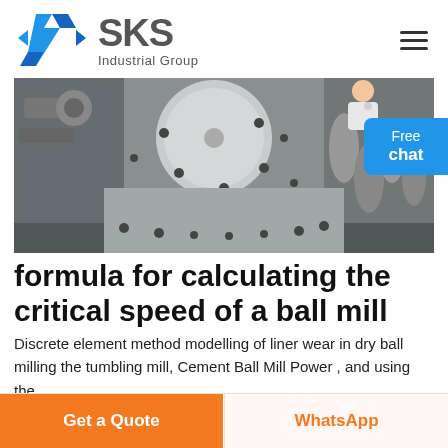[Figure (logo): SKS Industrial Group logo with blue angular S icon and grey text]
[Figure (photo): Industrial ball mill machinery in a factory setting, large rotating drum with bolts visible]
formula for calculating the critical speed of a ball mill
Discrete element method modelling of liner wear in dry ball milling the tumbling mill, Cement Ball Mill Power , and using the
Get a Quote
WhatsApp